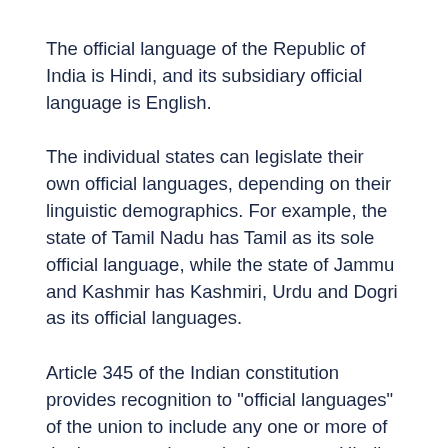The official language of the Republic of India is Hindi, and its subsidiary official language is English.
The individual states can legislate their own official languages, depending on their linguistic demographics. For example, the state of Tamil Nadu has Tamil as its sole official language, while the state of Jammu and Kashmir has Kashmiri, Urdu and Dogri as its official languages.
Article 345 of the Indian constitution provides recognition to "official languages" of the union to include any one or more of the languages in use in the state or Hindi language adopted by a state legislature as the official language of that state. Until the Twenty-First Amendment of the Constitution in 1967, the country recognized 14